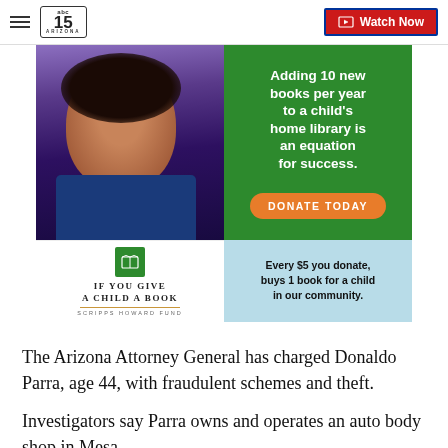abc15 ARIZONA — Watch Now
[Figure (infographic): If You Give a Child a Book / Scripps Howard Fund charity advertisement. Shows a smiling child with green background. Text: 'Adding 10 new books per year to a child's home library is an equation for success. DONATE TODAY. Every $5 you donate, buys 1 book for a child in our community.']
The Arizona Attorney General has charged Donaldo Parra, age 44, with fraudulent schemes and theft.
Investigators say Parra owns and operates an auto body shop in Mesa.